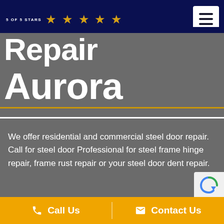5 OF 5 STARS ★★★★★
Repair Aurora
We offer residential and commercial steel door repair. Call for steel door Professional for steel frame hinge repair, frame rust repair or your steel door dent repair.
Call Us   Contact Us